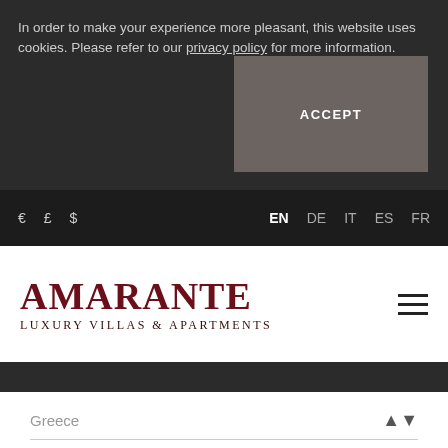In order to make your experience more pleasant, this website uses cookies. Please refer to our privacy policy for more information.
ACCEPT
€  £  $  EN  DE  IT  ES  FR
[Figure (logo): Amarante Luxury Villas & Apartments logo in dark red serif font with hamburger menu icon]
Greece